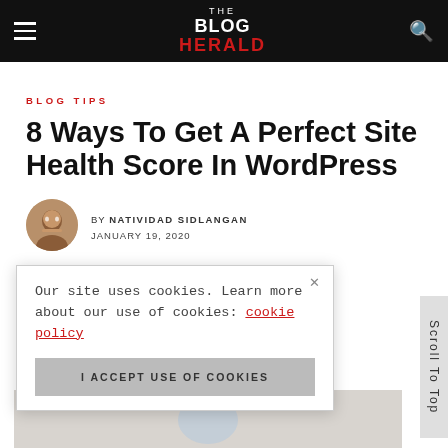THE BLOG HERALD
BLOG TIPS
8 Ways To Get A Perfect Site Health Score In WordPress
BY NATIVIDAD SIDLANGAN
JANUARY 19, 2020
Our site uses cookies. Learn more about our use of cookies: cookie policy
I ACCEPT USE OF COOKIES